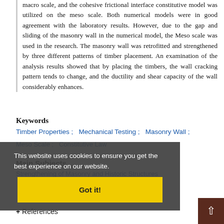macro scale, and the cohesive frictional interface constitutive model was utilized on the meso scale. Both numerical models were in good agreement with the laboratory results. However, due to the gap and sliding of the masonry wall in the numerical model, the Meso scale was used in the research. The masonry wall was retrofitted and strengthened by three different patterns of timber placement. An examination of the analysis results showed that by placing the timbers, the wall cracking pattern tends to change, and the ductility and shear capacity of the wall considerably enhances.
Keywords
Timber Properties ;  Mechanical Testing ;  Masonry Wall ;  Meso Scale ;  Constitutive Law
Main Subjects
Strengthening of Masonry and Historic Structures
This website uses cookies to ensure you get the best experience on our website.
Got it!
+ References